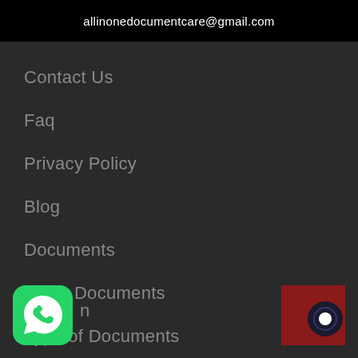allinonedocumentcare@gmail.com
Contact Us
Faq
Privacy Policy
Blog
Documents
Other Documents
Type of Documents
[Figure (logo): WhatsApp app icon - green rounded square with white phone handset in speech bubble]
[Figure (other): Chat widget - dark red square background with circular chat bubble icon]